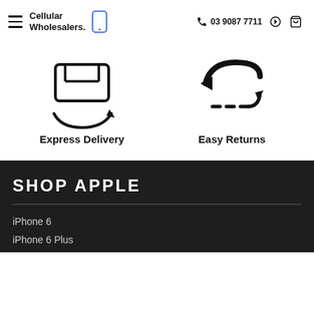Cellular Wholesalers — 03 9087 7711
[Figure (illustration): Express Delivery icon: a box with a circular refresh/delivery arrow beneath it]
Express Delivery
[Figure (illustration): Easy Returns icon: a curved arrow pointing left with dotted line below]
Easy Returns
SHOP APPLE
iPhone 6
iPhone 6 Plus